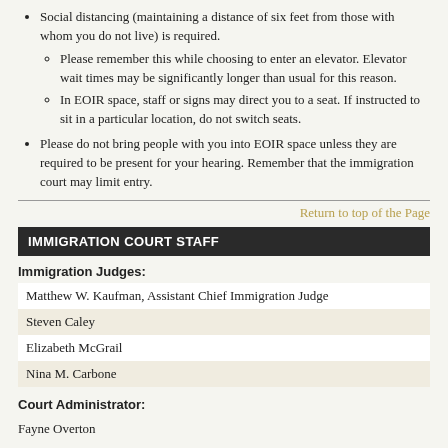Social distancing (maintaining a distance of six feet from those with whom you do not live) is required.
Please remember this while choosing to enter an elevator. Elevator wait times may be significantly longer than usual for this reason.
In EOIR space, staff or signs may direct you to a seat. If instructed to sit in a particular location, do not switch seats.
Please do not bring people with you into EOIR space unless they are required to be present for your hearing. Remember that the immigration court may limit entry.
Return to top of the Page
IMMIGRATION COURT STAFF
Immigration Judges:
| Matthew W. Kaufman, Assistant Chief Immigration Judge |
| Steven Caley |
| Elizabeth McGrail |
| Nina M. Carbone |
Court Administrator:
Fayne Overton